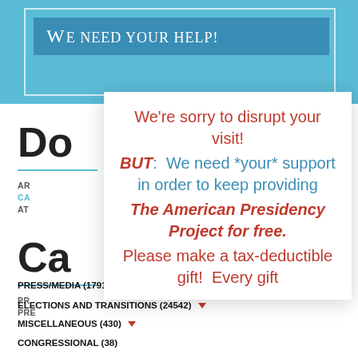We need your help!
We're sorry to disrupt your visit! BUT: We need *your* support in order to keep providing The American Presidency Project for free. Please make a tax-deductible gift! Every gift
ELECTIONS AND TRANSITIONS (24542)
MISCELLANEOUS (430)
CONGRESSIONAL (38)